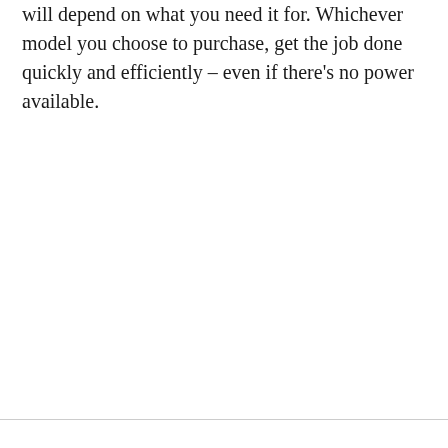will depend on what you need it for. Whichever model you choose to purchase, get the job done quickly and efficiently – even if there's no power available.